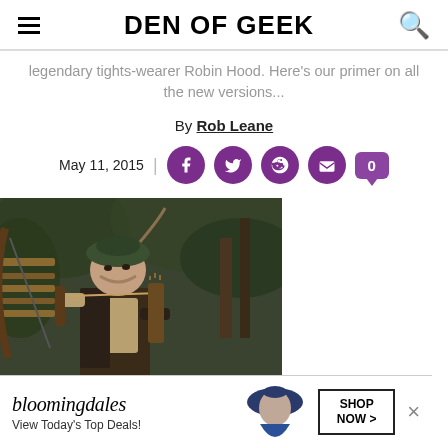DEN OF GEEK
legendary tights-wearer Robin Hood. Here's our primer on all the new versions...
By Rob Leane
May 11, 2015
[Figure (photo): Actor dressed as Robin Hood drawing a bow in a forest setting, wearing a green hat]
[Figure (infographic): Bloomingdales advertisement: 'View Today's Top Deals!' with SHOP NOW button and woman in hat image]